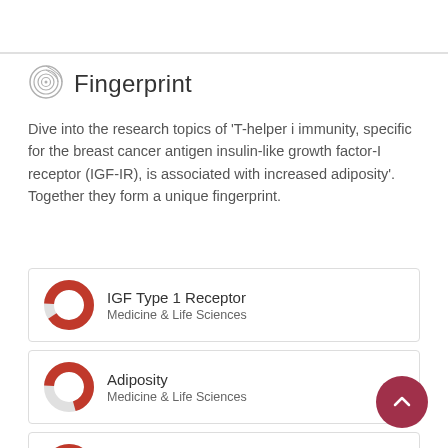Fingerprint
Dive into the research topics of 'T-helper i immunity, specific for the breast cancer antigen insulin-like growth factor-I receptor (IGF-IR), is associated with increased adiposity'. Together they form a unique fingerprint.
IGF Type 1 Receptor
Medicine & Life Sciences
Adiposity
Medicine & Life Sciences
Immunity
Medicine & Life Sciences